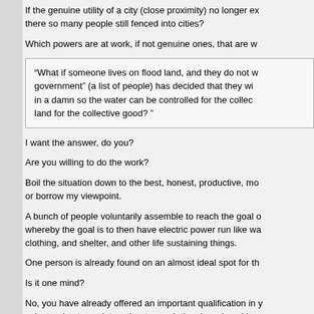If the genuine utility of a city (close proximity) no longer ex there so many people still fenced into cities?
Which powers are at work, if not genuine ones, that are w
“What if someone lives on flood land, and they do not w government” (a list of people) has decided that they wi in a damn so the water can be controlled for the collec land for the collective good? ”
I want the answer, do you?
Are you willing to do the work?
Boil the situation down to the best, honest, productive, mo or borrow my viewpoint.
A bunch of people voluntarily assemble to reach the goal o whereby the goal is to then have electric power run like wa clothing, and shelter, and other life sustaining things.
One person is already found on an almost ideal spot for th
Is it one mind?
No, you have already offered an important qualification in y volunteering to work together to reach the shared goal in m
Dam
Dam
Dam